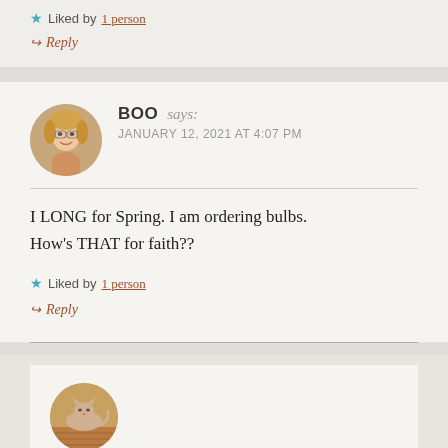★ Liked by 1 person
↪ Reply
BOO says: JANUARY 12, 2021 AT 4:07 PM
I LONG for Spring. I am ordering bulbs. How's THAT for faith??
★ Liked by 1 person
↪ Reply
[Figure (photo): Circular avatar photo of a smiling woman with glasses and blonde hair]
[Figure (photo): Circular avatar photo partially visible at bottom, appears to show an animal or pet]